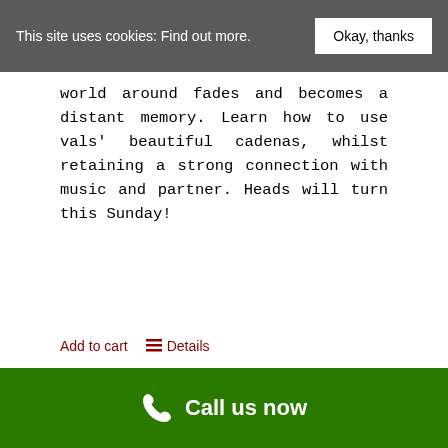This site uses cookies: Find out more. Okay, thanks
world around fades and becomes a distant memory. Learn how to use vals' beautiful cadenas, whilst retaining a strong connection with music and partner. Heads will turn this Sunday!
Add to cart   Details
Call us now